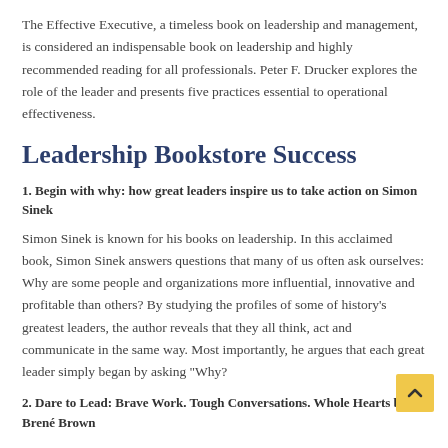The Effective Executive, a timeless book on leadership and management, is considered an indispensable book on leadership and highly recommended reading for all professionals. Peter F. Drucker explores the role of the leader and presents five practices essential to operational effectiveness.
Leadership Bookstore Success
1. Begin with why: how great leaders inspire us to take action on Simon Sinek
Simon Sinek is known for his books on leadership. In this acclaimed book, Simon Sinek answers questions that many of us often ask ourselves: Why are some people and organizations more influential, innovative and profitable than others? By studying the profiles of some of history's greatest leaders, the author reveals that they all think, act and communicate in the same way. Most importantly, he argues that each great leader simply began by asking "Why?
2. Dare to Lead: Brave Work. Tough Conversations. Whole Hearts by Brené Brown